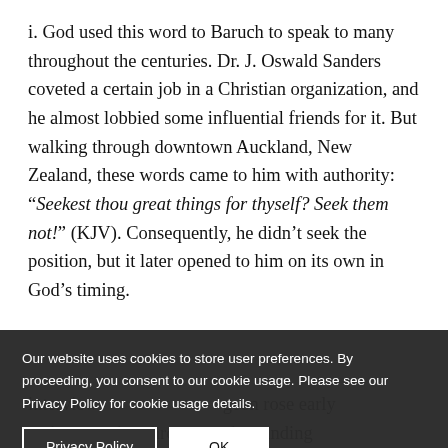i. God used this word to Baruch to speak to many throughout the centuries. Dr. J. Oswald Sanders coveted a certain job in a Christian organization, and he almost lobbied some influential friends for it. But walking through downtown Auckland, New Zealand, these words came to him with authority: “Seekest thou great things for thyself? Seek them not!” (KJV). Consequently, he didn’t seek the position, but it later opened to him on its own in God’s timing.
interview ... and Spurgeon rose early and set out, but through a misunderstanding he missed his appointment ... was not
Our website uses cookies to store user preferences. By proceeding, you consent to our cookie usage. Please see our Privacy Policy for cookie usage details.